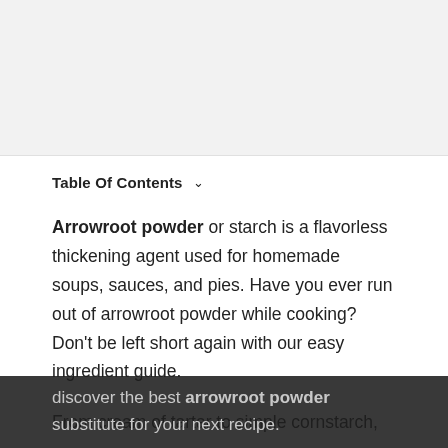[Figure (photo): Light gray placeholder image area at the top of the page]
Table Of Contents ▾
Arrowroot powder or starch is a flavorless thickening agent used for homemade soups, sauces, and pies. Have you ever run out of arrowroot powder while cooking? Don't be left short again with our easy ingredient guide.
From cream of tartar to simple cornstarch, discover the best arrowroot powder substitute for your next recipe.